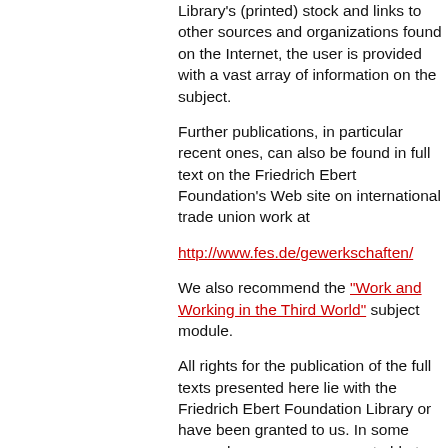Library's (printed) stock and links to other sources and organizations found on the Internet, the user is provided with a vast array of information on the subject.
Further publications, in particular recent ones, can also be found in full text on the Friedrich Ebert Foundation's Web site on international trade union work at
http://www.fes.de/gewerkschaften/
We also recommend the "Work and Working in the Third World" subject module.
All rights for the publication of the full texts presented here lie with the Friedrich Ebert Foundation Library or have been granted to us. In some cases, however, we were not able to determine who holds certain rights. Should the identity of any holder of rights become known to us at a later date or should they contact us, we will endeavour to obtain their permission. Standing in for all other persons or groups, we would like to thank the German Trade Union Federation's Education Institution/North-South Network (DGB-Bildungswerk/Nord-Süd-Netz) for granting us the rights to publish many of